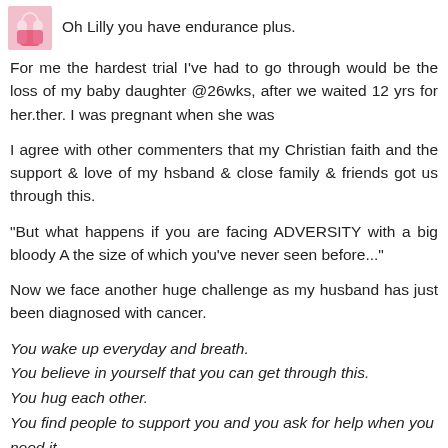Oh Lilly you have endurance plus.
For me the hardest trial I've had to go through would be the loss of my baby daughter @26wks, after we waited 12 yrs for her.ther. I was pregnant when she was
I agree with other commenters that my Christian faith and the support & love of my hsband & close family & friends got us through this.
"But what happens if you are facing ADVERSITY with a big bloody A the size of which you've never seen before..."
Now we face another huge challenge as my husband has just been diagnosed with cancer.
You wake up everyday and breath.
You believe in yourself that you can get through this.
You hug each other.
You find people to support you and you ask for help when you need it.
You remember that its ok to cry.